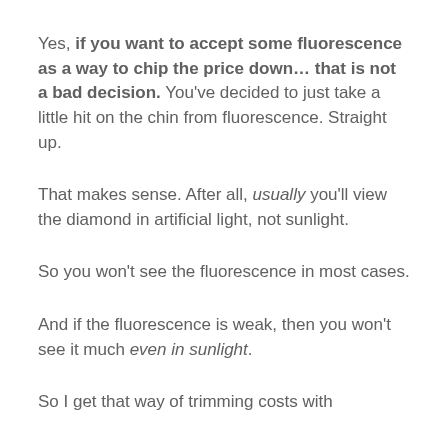Yes, if you want to accept some fluorescence as a way to chip the price down… that is not a bad decision. You've decided to just take a little hit on the chin from fluorescence. Straight up.
That makes sense. After all, usually you'll view the diamond in artificial light, not sunlight.
So you won't see the fluorescence in most cases.
And if the fluorescence is weak, then you won't see it much even in sunlight.
So I get that way of trimming costs with